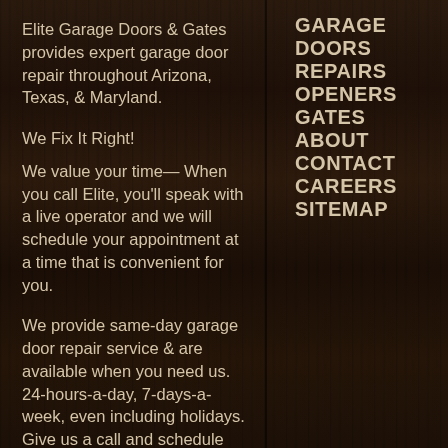Elite Garage Doors & Gates provides expert garage door repair throughout Arizona, Texas, & Maryland.
We Fix It Right!
We value your time— When you call Elite, you'll speak with a live operator and we will schedule your appointment at a time that is convenient for you.
We provide same-day garage door repair service & are available when you need us. 24-hours-a-day, 7-days-a-week, even including holidays. Give us a call and schedule your appointment NOW...
GARAGE DOORS
REPAIRS
OPENERS
GATES
ABOUT
CONTACT
CAREERS
SITEMAP